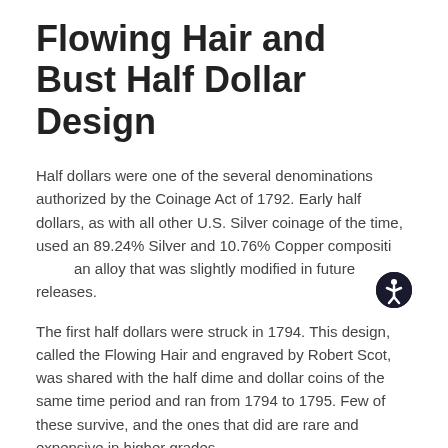Flowing Hair and Bust Half Dollar Design
Half dollars were one of the several denominations authorized by the Coinage Act of 1792. Early half dollars, as with all other U.S. Silver coinage of the time, used an 89.24% Silver and 10.76% Copper composition, an alloy that was slightly modified in future releases.
The first half dollars were struck in 1794. This design, called the Flowing Hair and engraved by Robert Scot, was shared with the half dime and dollar coins of the same time period and ran from 1794 to 1795. Few of these survive, and the ones that did are rare and expensive in higher grades.
The Draped Bust design was created by Robert Scot...